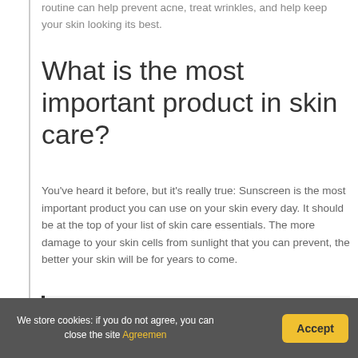routine can help prevent acne, treat wrinkles, and help keep your skin looking its best.
What is the most important product in skin care?
You've heard it before, but it's really true: Sunscreen is the most important product you can use on your skin every day. It should be at the top of your list of skin care essentials. The more damage to your skin cells from sunlight that you can prevent, the better your skin will be for years to come.
We store cookies: if you do not agree, you can close the site Agreemen
Accept